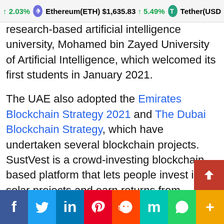↑ 2.03%   Ethereum(ETH) $1,635.83 ↑ 5.49%   Tether(USD...
research-based artificial intelligence university, Mohamed bin Zayed University of Artificial Intelligence, which welcomed its first students in January 2021.
The UAE also adopted the Emirates Blockchain Strategy 2021 and The Dubai Blockchain Strategy, which have undertaken several blockchain projects. SustVest is a crowd-investing blockchain-based platform that lets people invest in solar projects and earn returns from consumers who use their funding to install solar panels. The company is based in the Dubai Silicon Oasis Authority and has built its solution on the Nem blockchain. Its founder, Hardik Bhatia, explained:
f  Twitter  in  Pinterest  Reddit  Mix  WhatsApp  +